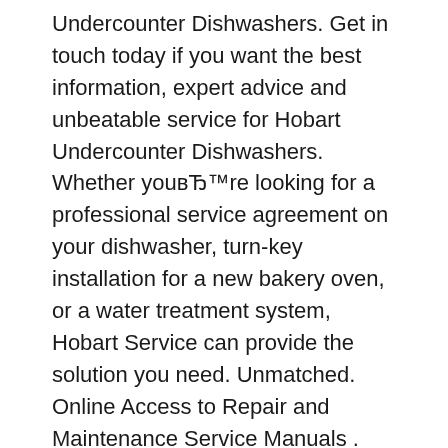Undercounter Dishwashers. Get in touch today if you want the best information, expert advice and unbeatable service for Hobart Undercounter Dishwashers. Whether youвЂ™re looking for a professional service agreement on your dishwasher, turn-key installation for a new bakery oven, or a water treatment system, Hobart Service can provide the solution you need. Unmatched. Online Access to Repair and Maintenance Service Manuals . October 01, 2019 / News.
Ecomax are an authorised dealer of Hobart Undercounter Dishwashers and supply throughout the UK. Our products include Ecomax, Ecomax Plus and Premier